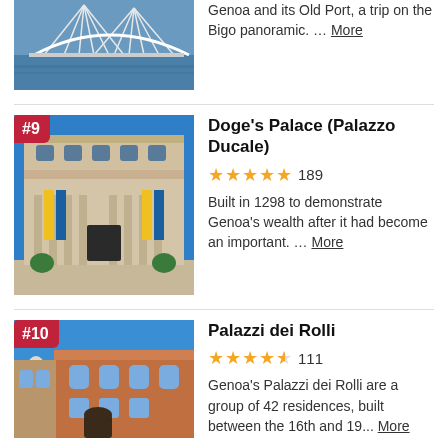[Figure (photo): Partial image of Genoa bridge/port with white cable bridge structure over water, cropped at top]
Genoa and its Old Port, a trip on the Bigo panoramic. … More
[Figure (photo): Doge's Palace (Palazzo Ducale) facade with ornate classical architecture, yellow banners, blue sky. Badge: #9]
Doge's Palace (Palazzo Ducale)
189 reviews, 5 stars
Built in 1298 to demonstrate Genoa's wealth after it had become an important. … More
[Figure (photo): Palazzi dei Rolli building with statue in foreground, ornate baroque architecture, blue sky. Badge: #10]
Palazzi dei Rolli
111 reviews, 4.5 stars
Genoa's Palazzi dei Rolli are a group of 42 residences, built between the 16th and 19... More